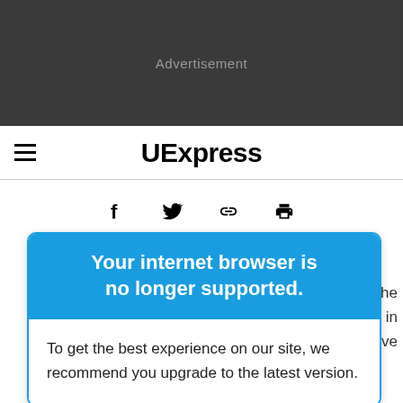[Figure (other): Dark gray advertisement banner area with 'Advertisement' text centered]
UExpress
[Figure (other): Share icons row: Facebook (f), Twitter (bird), link, print]
Your internet browser is no longer supported.
To get the best experience on our site, we recommend you upgrade to the latest version.